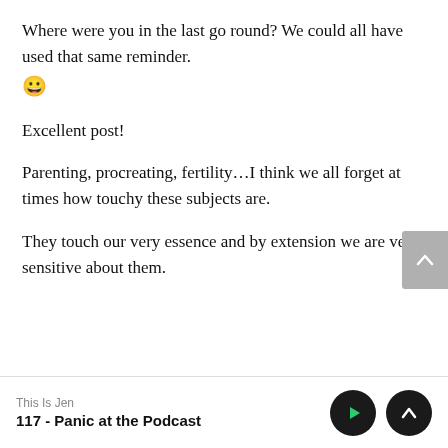Where were you in the last go round? We could all have used that same reminder. 😀
Excellent post!
Parenting, procreating, fertility…I think we all forget at times how touchy these subjects are.
They touch our very essence and by extension we are very sensitive about them.
This Is Jen
117 - Panic at the Podcast